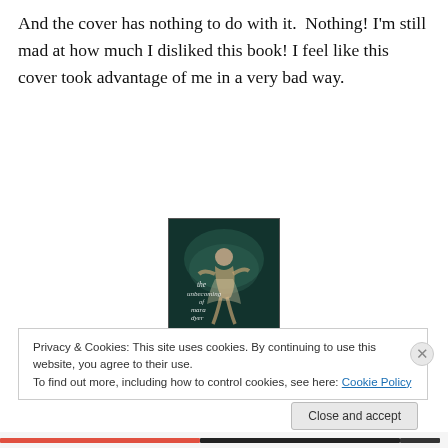And the cover has nothing to do with it. Nothing! I'm still mad at how much I disliked this book! I feel like this cover took advantage of me in a very bad way.
[Figure (photo): Book cover of 'The Unbecoming of Mara Dyer' by Michelle Hodkin — dark teal underwater scene with a figure, overlaid with stylized text]
3. Anna and The French Kiss by Stepanie Perkins- You
Privacy & Cookies: This site uses cookies. By continuing to use this website, you agree to their use.
To find out more, including how to control cookies, see here: Cookie Policy